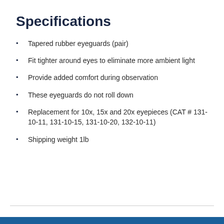Specifications
Tapered rubber eyeguards (pair)
Fit tighter around eyes to eliminate more ambient light
Provide added comfort during observation
These eyeguards do not roll down
Replacement for 10x, 15x and 20x eyepieces (CAT # 131-10-11, 131-10-15, 131-10-20, 132-10-11)
Shipping weight 1lb